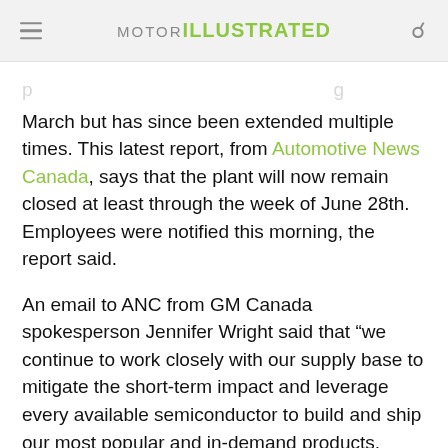MOTOR ILLUSTRATED
March but has since been extended multiple times. This latest report, from Automotive News Canada, says that the plant will now remain closed at least through the week of June 28th. Employees were notified this morning, the report said.
An email to ANC from GM Canada spokesperson Jennifer Wright said that “we continue to work closely with our supply base to mitigate the short-term impact and leverage every available semiconductor to build and ship our most popular and in-demand products, including full-size trucks and SUVs for our customers.”